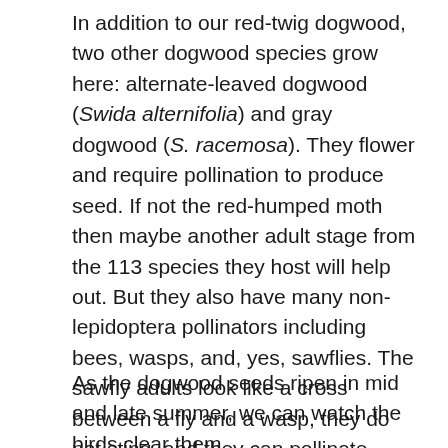In addition to our red-twig dogwood, two other dogwood species grow here: alternate-leaved dogwood (Swida alternifolia) and gray dogwood (S. racemosa). They flower and require pollination to produce seed. If not the red-humped moth then maybe another adult stage from the 113 species they host will help out. But they also have many non-lepidoptera pollinators including bees, wasps, and, yes, sawflies. The sawfly adults look like a cross between a fly and a wasp, they do not sting, and they can pollinate many crop and flowering plants.4
As the dogwood seeds ripen in mid and late summer, we can watch the birds clear them